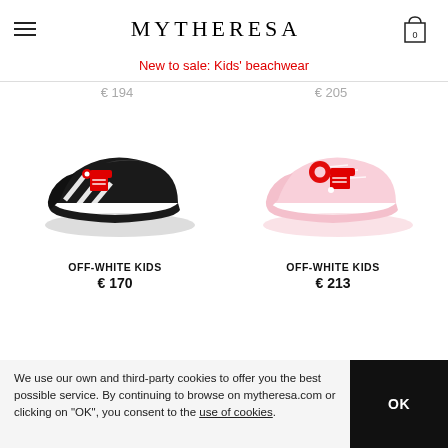MYTHERESA
New to sale: Kids' beachwear
€ 194
€ 205
[Figure (photo): Black Off-White Kids sneaker with red zip-tie tag and diagonal white stripes on black leather upper]
OFF-WHITE KIDS
€ 170
[Figure (photo): Pink Off-White Kids sneaker with red zip-tie tag on pink leather upper]
OFF-WHITE KIDS
€ 213
We use our own and third-party cookies to offer you the best possible service. By continuing to browse on mytheresa.com or clicking on "OK", you consent to the use of cookies.